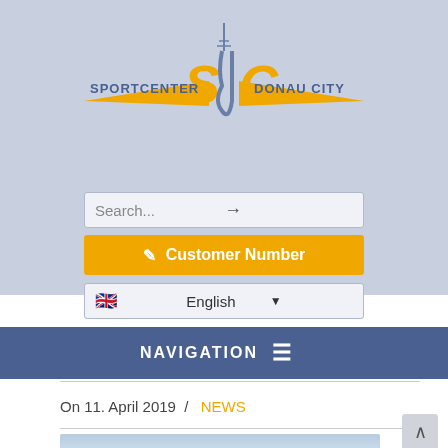[Figure (logo): Sportcenter SDC Donau City logo with stylized letters S, D, C in yellow/orange with a tower and blue text]
[Figure (screenshot): Search input box with placeholder text 'Search...' and right arrow]
[Figure (screenshot): Orange button labeled 'Customer Number' with edit icon]
[Figure (screenshot): Dropdown selector showing UK flag and 'English' text]
NAVIGATION
On 11. April 2019  /  NEWS
[Figure (photo): Partially visible photo of a building against blue sky]